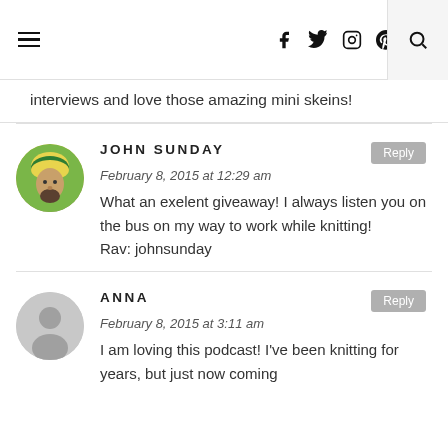Navigation header with hamburger menu, social icons (Facebook, Twitter, Instagram, Pinterest, RSS), and search
interviews and love those amazing mini skeins!
JOHN SUNDAY
February 8, 2015 at 12:29 am
What an exelent giveaway! I always listen you on the bus on my way to work while knitting!
Rav: johnsunday
ANNA
February 8, 2015 at 3:11 am
I am loving this podcast! I've been knitting for years, but just now coming